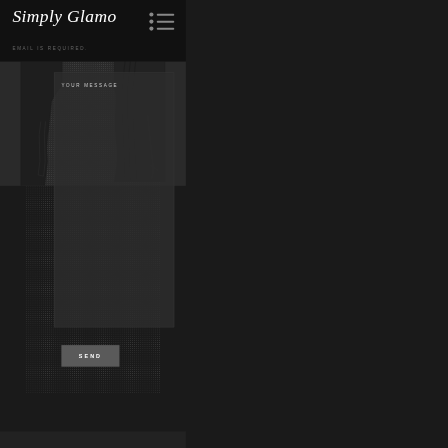Simply Glamo
EMAIL IS REQUIRED.
YOUR MESSAGE
SEND
[Figure (screenshot): Dark website contact form page for 'Simply Glamo' with a message textarea and Send button, overlaid on a dark background with silhouette figures visible.]